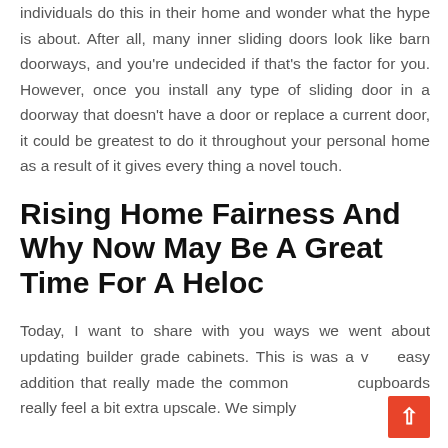individuals do this in their home and wonder what the hype is about. After all, many inner sliding doors look like barn doorways, and you're undecided if that's the factor for you. However, once you install any type of sliding door in a doorway that doesn't have a door or replace a current door, it could be greatest to do it throughout your personal home as a result of it gives every thing a novel touch.
Rising Home Fairness And Why Now May Be A Great Time For A Heloc
Today, I want to share with you ways we went about updating builder grade cabinets. This is was a very easy addition that really made the common cupboards really feel a bit extra upscale. We simply